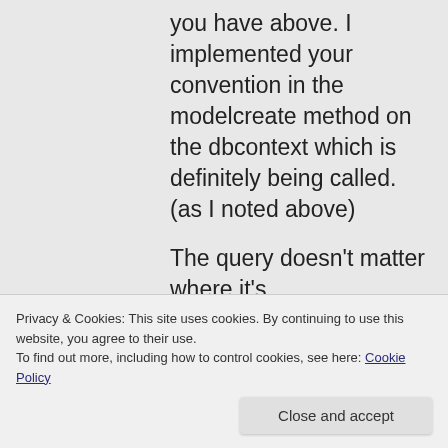you have above. I implemented your convention in the modelcreate method on the dbcontext which is definitely being called. (as I noted above)
The query doesn't matter where it's
Privacy & Cookies: This site uses cookies. By continuing to use this website, you agree to their use. To find out more, including how to control cookies, see here: Cookie Policy
Close and accept